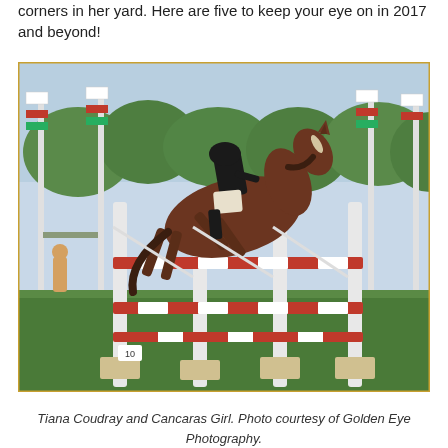corners in her yard. Here are five to keep your eye on in 2017 and beyond!
[Figure (photo): A rider in a black jacket and helmet on a bay horse jumping over a red and white show jumping fence at a competition. White banner poles with red and green accents are visible in the background. Green grass and trees are in the background. A number 10 marker is visible at the base of the jump.]
Tiana Coudray and Cancaras Girl. Photo courtesy of Golden Eye Photography.